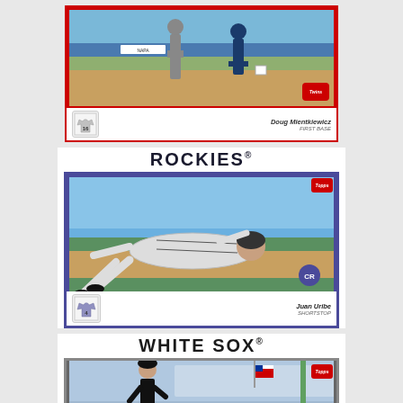[Figure (photo): Topps baseball card - Minnesota Twins player Doug Mientkiewicz, First Base. Card shows a fielding play at first base. Card number 16.]
[Figure (photo): Topps baseball card - Colorado Rockies player Juan Uribe, Shortstop. Card number 4. Shows player diving/sliding to make a play.]
[Figure (photo): Topps baseball card - Chicago White Sox player. Shows player on field at stadium.]